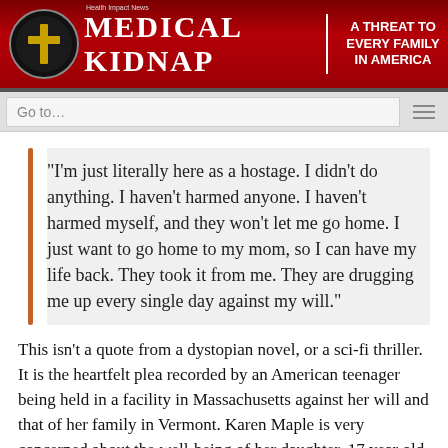MEDICAL KIDNAP | A THREAT TO EVERY FAMILY IN AMERICA
Go to…
“I’m just literally here as a hostage. I didn’t do anything. I haven’t harmed anyone. I haven’t harmed myself, and they won’t let me go home. I just want to go home to my mom, so I can have my life back. They took it from me. They are drugging me up every single day against my will.”
This isn’t a quote from a dystopian novel, or a sci-fi thriller. It is the heartfelt plea recorded by an American teenager being held in a facility in Massachusetts against her will and that of her family in Vermont. Karen Maple is very concerned about the well-being of her daughter, 17 year old Elissa, since DCF seized custody of the teen over a year ago, in December 2013.